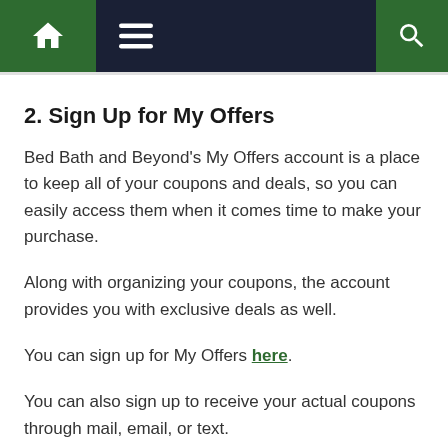Navigation bar with home, menu, and search icons
2. Sign Up for My Offers
Bed Bath and Beyond's My Offers account is a place to keep all of your coupons and deals, so you can easily access them when it comes time to make your purchase.
Along with organizing your coupons, the account provides you with exclusive deals as well.
You can sign up for My Offers here.
You can also sign up to receive your actual coupons through mail, email, or text.
To sign up to receive coupons, click here and choose the